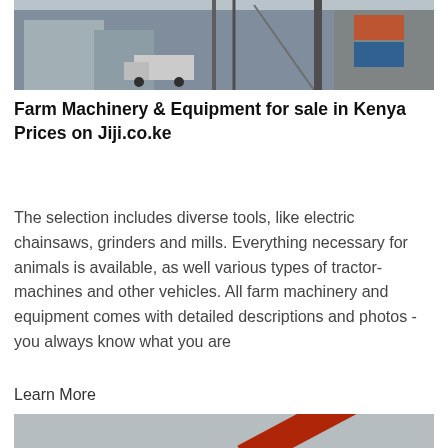[Figure (photo): Industrial/factory scene showing large structures and a truck in the background]
Farm Machinery & Equipment for sale in Kenya Prices on Jiji.co.ke
The selection includes diverse tools, like electric chainsaws, grinders and mills. Everything necessary for animals is available, as well various types of tractor-machines and other vehicles. All farm machinery and equipment comes with detailed descriptions and photos - you always know what you are
Learn More
[Figure (photo): Red heavy machinery/crusher operating outdoors on a construction or mining site]